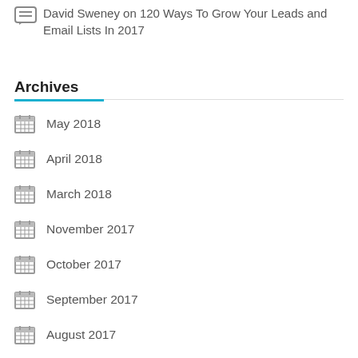David Sweney on 120 Ways To Grow Your Leads and Email Lists In 2017
Archives
May 2018
April 2018
March 2018
November 2017
October 2017
September 2017
August 2017